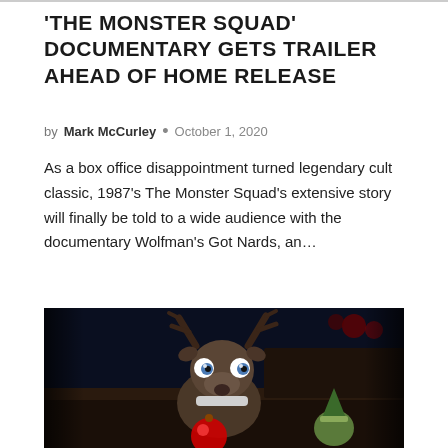'THE MONSTER SQUAD' DOCUMENTARY GETS TRAILER AHEAD OF HOME RELEASE
by Mark McCurley • October 1, 2020
As a box office disappointment turned legendary cult classic, 1987's The Monster Squad's extensive story will finally be told to a wide audience with the documentary Wolfman's Got Nards, an…
[Figure (photo): A stop-motion or puppet-style reindeer character with dark fur, blue eyes, and antlers, looking stern, with a glowing red ornament visible in the foreground and holiday decorations in the background.]